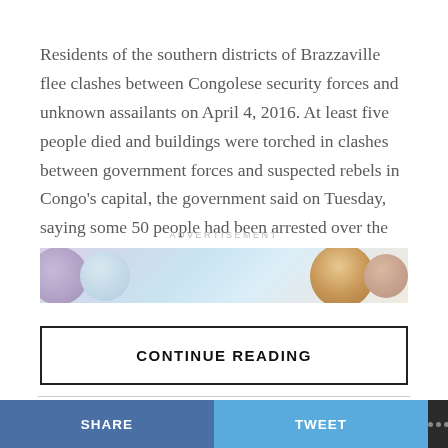Residents of the southern districts of Brazzaville flee clashes between Congolese security forces and unknown assailants on April 4, 2016. At least five people died and buildings were torched in clashes between government forces and suspected rebels in Congo's capital, the government said on Tuesday, saying some 50 people had been arrested over the “terror attack”.
ADVERTISEMENT
[Figure (illustration): Advertisement banner with decorative circular shapes in purple, blue, and orange/brown tones on a light background]
CONTINUE READING
ADVERTISEMENT
SHARE    TWEET    •••